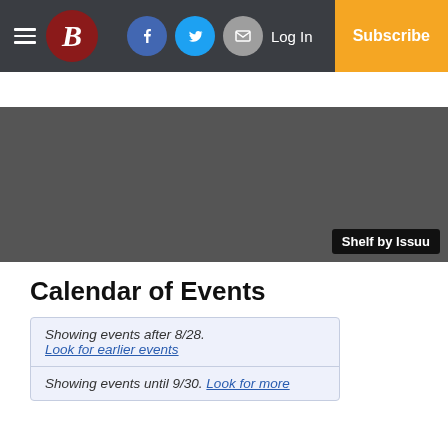B (Boston Globe logo) | Facebook | Twitter | Mail | Log In | Subscribe
[Figure (other): Dark gray shelf/advertisement area with 'Shelf by Issuu' badge in bottom-right corner]
Calendar of Events
Showing events after 8/28.
Look for earlier events
Showing events until 9/30. Look for more